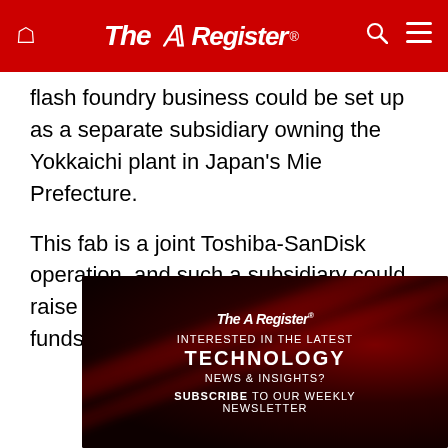The Register
flash foundry business could be set up as a separate subsidiary owning the Yokkaichi plant in Japan's Mie Prefecture.
This fab is a joint Toshiba-SanDisk operation, and such a subsidiary could raise its own business development funds.
[Figure (infographic): The Register advertisement banner with dark red background, The Register logo, text: INTERESTED IN THE LATEST TECHNOLOGY NEWS & INSIGHTS? SUBSCRIBE TO OUR WEEKLY NEWSLETTER]